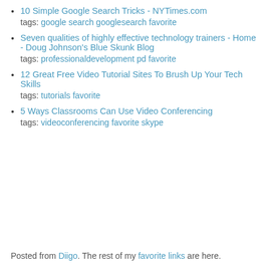10 Simple Google Search Tricks - NYTimes.com
tags: google search googlesearch favorite
Seven qualities of highly effective technology trainers - Home - Doug Johnson's Blue Skunk Blog
tags: professionaldevelopment pd favorite
12 Great Free Video Tutorial Sites To Brush Up Your Tech Skills
tags: tutorials favorite
5 Ways Classrooms Can Use Video Conferencing
tags: videoconferencing favorite skype
Posted from Diigo. The rest of my favorite links are here.